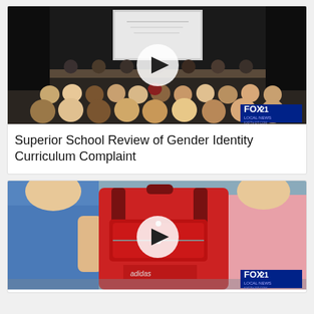[Figure (screenshot): Video thumbnail showing a school board or community meeting with audience members seated facing a panel table at the front. A projection screen is visible at top. FOX 21 LOCAL NEWS logo in bottom right corner. A white play button overlay is centered on the image.]
Superior School Review of Gender Identity Curriculum Complaint
[Figure (screenshot): Video thumbnail showing people with a red Adidas backpack in the foreground, suggesting a back-to-school scene. A FOX 21 LOCAL NEWS logo is visible in the bottom right corner. A white play button overlay is centered on the image.]